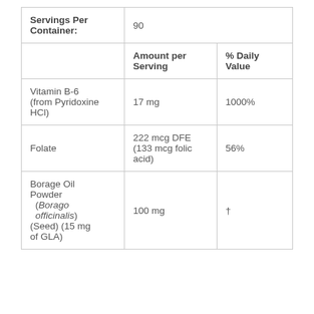|  | Amount per Serving | % Daily Value |
| --- | --- | --- |
| Servings Per Container: | 90 |  |
|  | Amount per Serving | % Daily Value |
| Vitamin B-6 (from Pyridoxine HCl) | 17 mg | 1000% |
| Folate | 222 mcg DFE (133 mcg folic acid) | 56% |
| Borage Oil Powder (Borago officinalis) (Seed) (15 mg of GLA) | 100 mg | † |